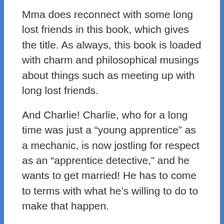Mma does reconnect with some long lost friends in this book, which gives the title. As always, this book is loaded with charm and philosophical musings about things such as meeting up with long lost friends.
And Charlie! Charlie, who for a long time was just a “young apprentice” as a mechanic, is now jostling for respect as an “apprentice detective,” and he wants to get married! He has to come to terms with what he’s willing to do to make that happen.
recordedbooks.com